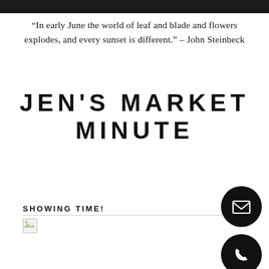“In early June the world of leaf and blade and flowers explodes, and every sunset is different.” – John Steinbeck
JEN'S MARKET MINUTE
SHOWING TIME!
[Figure (other): Broken image placeholder icon]
[Figure (other): Black circle with white envelope/email icon]
[Figure (other): Black circle with white phone icon]